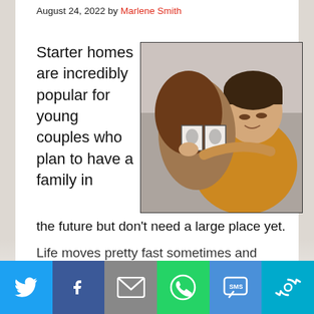August 24, 2022 by Marlene Smith
Starter homes are incredibly popular for young couples who plan to have a family in the future but don't need a large place yet.
[Figure (photo): Young couple looking at ultrasound photos together, woman kissing man on the cheek]
Life moves pretty fast sometimes and many
Social share bar: Twitter, Facebook, Email, WhatsApp, SMS, More